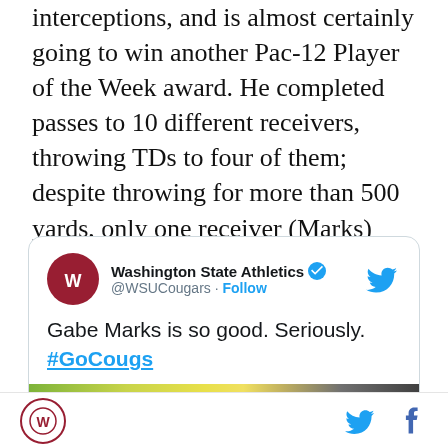interceptions, and is almost certainly going to win another Pac-12 Player of the Week award. He completed passes to 10 different receivers, throwing TDs to four of them; despite throwing for more than 500 yards, only one receiver (Marks) went over 100 yards (111). He caught WSU's first two touchdowns, including this incredible beauty:
[Figure (screenshot): Embedded tweet from Washington State Athletics (@WSUCougars) with verified badge and Follow link. Tweet text: 'Gabe Marks is so good. Seriously. #GoCougs' with partial football game image visible at bottom.]
WSU logo icon | Twitter bird icon | Facebook f icon